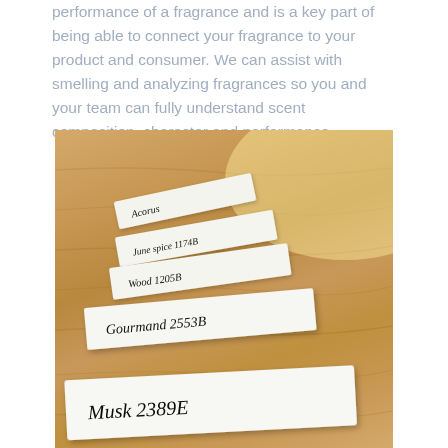performance of a fragrance and is a key part of being able to connect your fragrance to your product and consumer. We can assist with smelling and analyzing fragrances so you and your team can fully understand scent composition, character and performance.
[Figure (photo): Fragrance test strips laid on a wooden table, handwritten labels visible including 'Gourmand 2553B' and 'Musk 2389E' among others stacked in perspective]